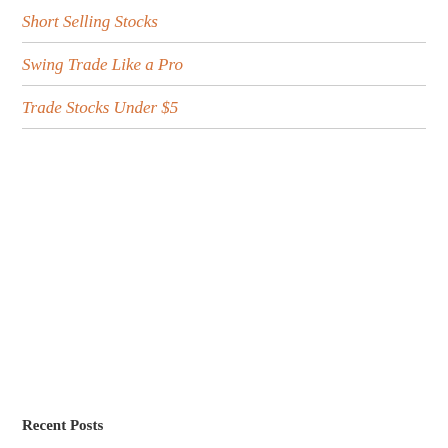Short Selling Stocks
Swing Trade Like a Pro
Trade Stocks Under $5
Recent Posts